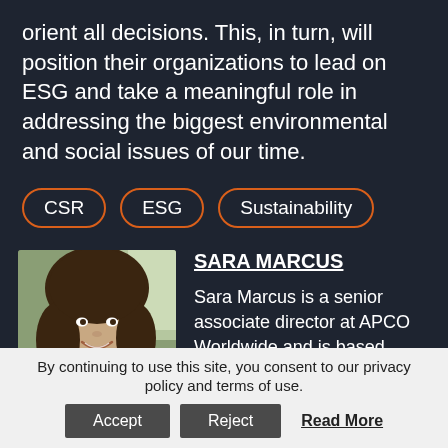orient all decisions. This, in turn, will position their organizations to lead on ESG and take a meaningful role in addressing the biggest environmental and social issues of our time.
CSR
ESG
Sustainability
[Figure (photo): Portrait photo of Sara Marcus, a woman with curly brown hair, smiling, in an indoor setting with a window visible in the background.]
SARA MARCUS
Sara Marcus is a senior associate director at APCO Worldwide and is based in New York.
By continuing to use this site, you consent to our privacy policy and terms of use.